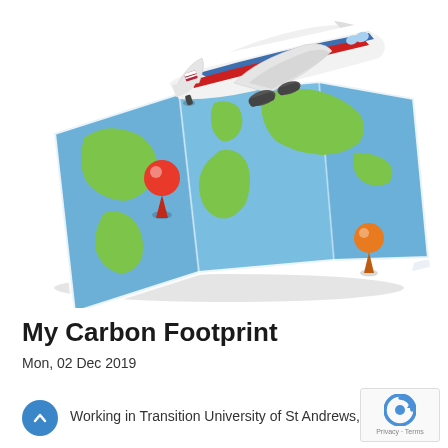[Figure (illustration): 3D illustration of an airplane flying above a folded world map with two location pins (red pin on North America, orange pin on Asia/Australia region)]
My Carbon Footprint
Mon, 02 Dec 2019
Working in Transition University of St Andrews, St...